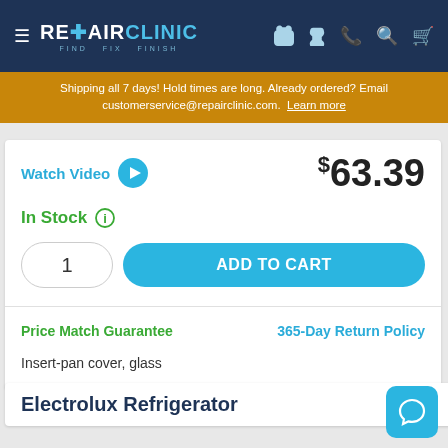REPAIR CLINIC — FIND. FIX. FINISH.
Shipping all 7 days! Hold times are long. Already ordered? Email customerservice@repairclinic.com. Learn more
Watch Video  $63.39
In Stock
1   ADD TO CART
Price Match Guarantee   365-Day Return Policy
Insert-pan cover, glass
Electrolux Refrigerator